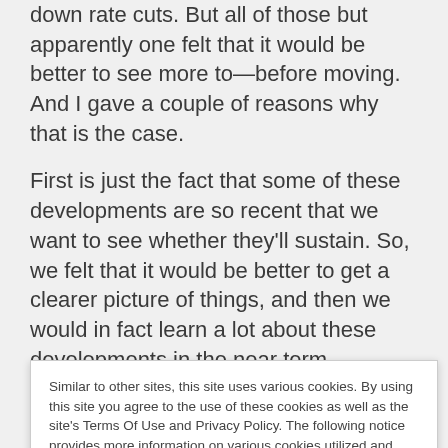down rate cuts.  But all of those but apparently one felt that it would be better to see more to—before moving.  And I gave a couple of reasons why that is the case.
First is just the fact that some of these developments are so recent that we want to see whether they'll sustain.  So, we felt that it would be better to get a clearer picture of things, and then we would in fact learn a lot about these developments in the near term
Similar to other sites, this site uses various cookies. By using this site you agree to the use of these cookies as well as the site's Terms Of Use and Privacy Policy. The following notice provides more information on various cookies utilized and how to delete or block them. Cookie Policy
expand—to sustain the expansion.